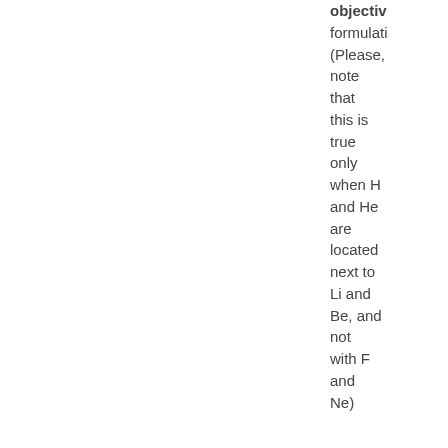objective formulation (Please, note that this is true only when H and He are located next to Li and Be, and not with F and Ne)